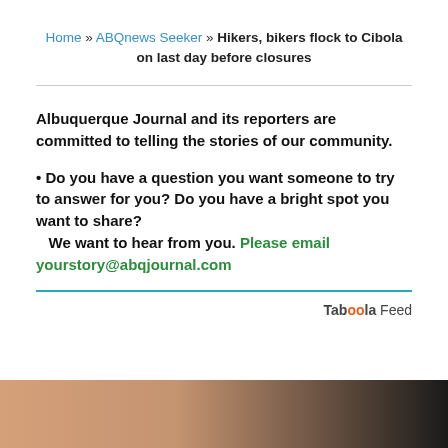Home » ABQnews Seeker » Hikers, bikers flock to Cibola on last day before closures
Albuquerque Journal and its reporters are committed to telling the stories of our community.
• Do you have a question you want someone to try to answer for you? Do you have a bright spot you want to share?
    We want to hear from you. Please email yourstory@abqjournal.com
Taboola Feed
[Figure (photo): Bottom partial image showing a person against a dark background]